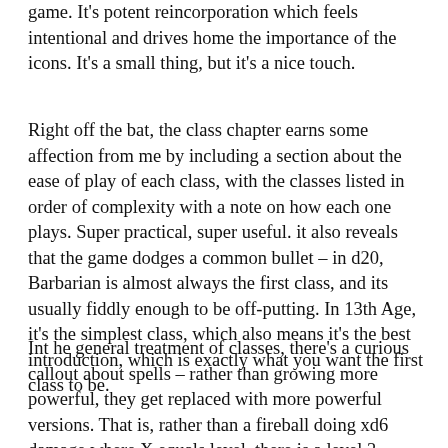game. It's potent reincorporation which feels intentional and drives home the importance of the icons. It's a small thing, but it's a nice touch.
Right off the bat, the class chapter earns some affection from me by including a section about the ease of play of each class, with the classes listed in order of complexity with a note on how each one plays. Super practical, super useful. it also reveals that the game dodges a common bullet – in d20, Barbarian is almost always the first class, and its usually fiddly enough to be off-putting. In 13th Age, it's the simplest class, which also means it's the best introduction, which is exactly what you want the first class to be.
Int he general treatment of classes, there's a curious callout about spells – rather than growing more powerful, they get replaced with more powerful versions. That is, rather than a fireball doing xd6 damage where X equals level, there is a level 3 version of fireball that does 3d6, a level 5 version that